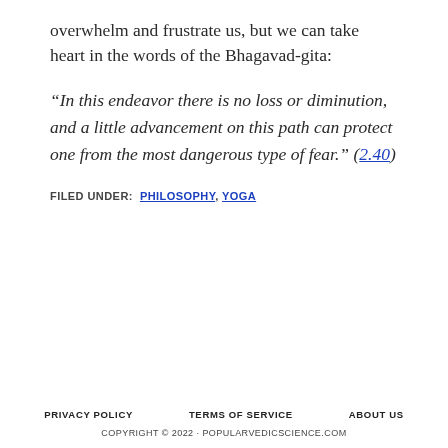overwhelm and frustrate us, but we can take heart in the words of the Bhagavad-gita:
“In this endeavor there is no loss or diminution, and a little advancement on this path can protect one from the most dangerous type of fear.” (2.40)
FILED UNDER: PHILOSOPHY, YOGA
PRIVACY POLICY   TERMS OF SERVICE   ABOUT US
COPYRIGHT © 2022 · POPULARVEDICSCIENCE.COM